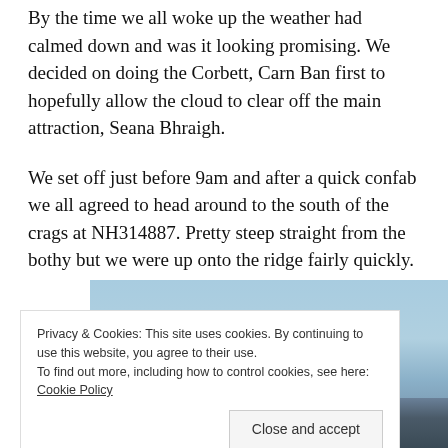By the time we all woke up the weather had calmed down and was it looking promising. We decided on doing the Corbett, Carn Ban first to hopefully allow the cloud to clear off the main attraction, Seana Bhraigh.
We set off just before 9am and after a quick confab we all agreed to head around to the south of the crags at NH314887. Pretty steep straight from the bothy but we were up onto the ridge fairly quickly.
[Figure (photo): Partially visible outdoor landscape photo showing sky and terrain, partially obscured by a cookie consent banner]
Privacy & Cookies: This site uses cookies. By continuing to use this website, you agree to their use.
To find out more, including how to control cookies, see here: Cookie Policy
Close and accept